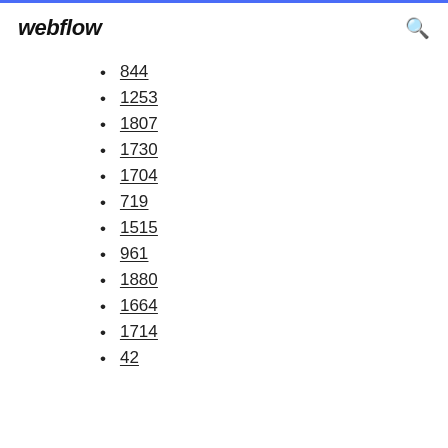webflow
844
1253
1807
1730
1704
719
1515
961
1880
1664
1714
42